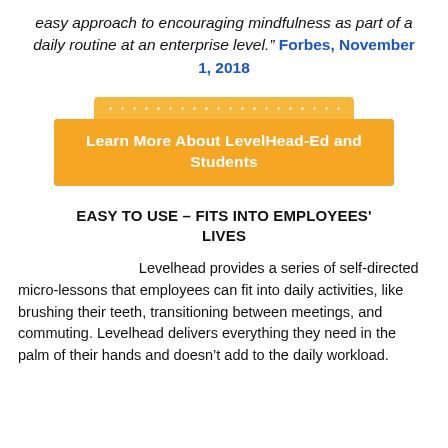easy approach to encouraging mindfulness as part of a daily routine at an enterprise level." Forbes, November 1, 2018
[Figure (infographic): Golden yellow banner with dots on top strip and bold white text reading 'Learn More About LevelHead-Ed and Students']
EASY TO USE – FITS INTO EMPLOYEES' LIVES
Levelhead provides a series of self-directed micro-lessons that employees can fit into daily activities, like brushing their teeth, transitioning between meetings, and commuting. Levelhead delivers everything they need in the palm of their hands and doesn't add to the daily workload.